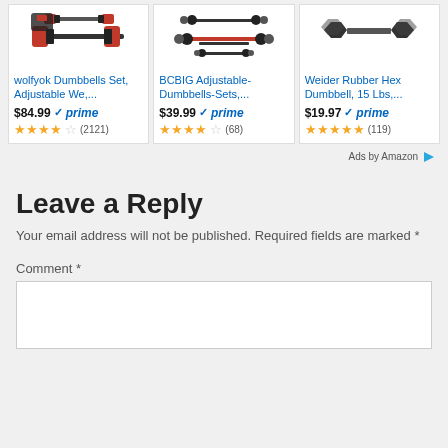[Figure (screenshot): Amazon product ad row showing three dumbbell products with prices, prime badges, and star ratings]
Ads by Amazon
Leave a Reply
Your email address will not be published. Required fields are marked *
Comment *
[Figure (screenshot): Comment text area input box]